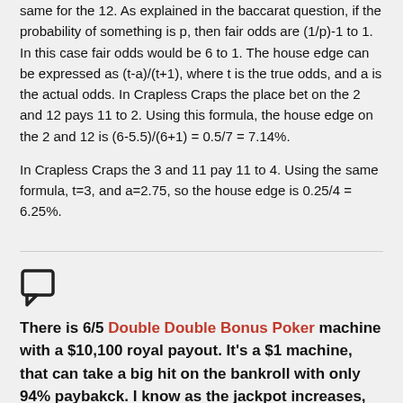same for the 12. As explained in the baccarat question, if the probability of something is p, then fair odds are (1/p)-1 to 1. In this case fair odds would be 6 to 1. The house edge can be expressed as (t-a)/(t+1), where t is the true odds, and a is the actual odds. In Crapless Craps the place bet on the 2 and 12 pays 11 to 2. Using this formula, the house edge on the 2 and 12 is (6-5.5)/(6+1) = 0.5/7 = 7.14%.
In Crapless Craps the 3 and 11 pay 11 to 4. Using the same formula, t=3, and a=2.75, so the house edge is 0.25/4 = 6.25%.
[Figure (illustration): Speech bubble / comment icon]
There is 6/5 Double Double Bonus Poker machine with a $10,100 royal payout. It's a $1 machine, that can take a big hit on the bankroll with only 94% paybakck. I know as the jackpot increases, so does the payback